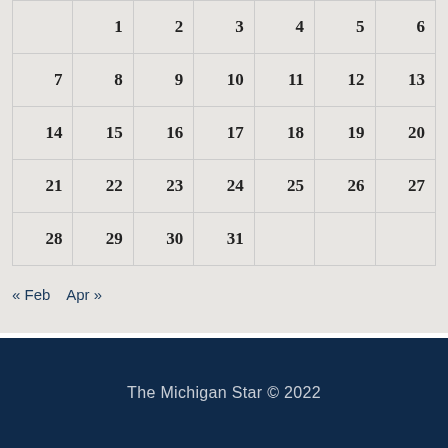|  | 1 | 2 | 3 | 4 | 5 | 6 |
| 7 | 8 | 9 | 10 | 11 | 12 | 13 |
| 14 | 15 | 16 | 17 | 18 | 19 | 20 |
| 21 | 22 | 23 | 24 | 25 | 26 | 27 |
| 28 | 29 | 30 | 31 |  |  |  |
« Feb   Apr »
The Michigan Star © 2022